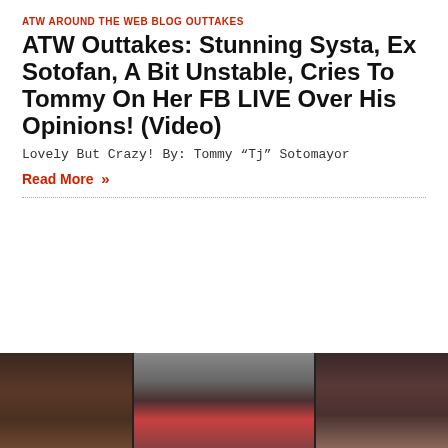[Figure (photo): Collage of three women photos side by side at the top of the article]
ATW AROUND THE WEB BLOG OUTTAKES
ATW Outtakes: Stunning Systa, Ex Sotofan, A Bit Unstable, Cries To Tommy On Her FB LIVE Over His Opinions! (Video)
Lovely But Crazy! By: Tommy “Tj” Sotomayor
Read More »
[Figure (photo): Collage of three people photos side by side at the bottom of the page]